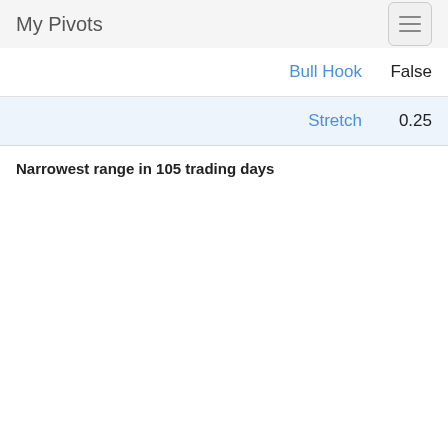My Pivots
| Label | Value |
| --- | --- |
| Bull Hook | False |
| Stretch | 0.25 |
Narrowest range in 105 trading days